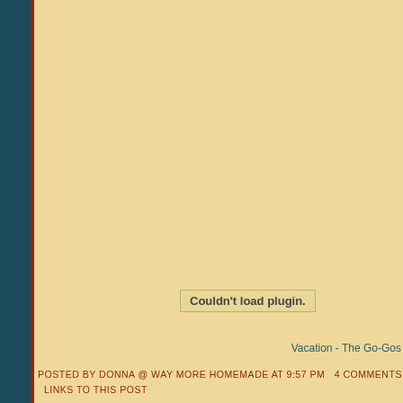[Figure (other): Embedded plugin area that failed to load, showing 'Couldn't load plugin.' error message on a tan/cream background with a teal sidebar on the left.]
Vacation - The Go-Gos
POSTED BY DONNA @ WAY MORE HOMEMADE AT 9:57 PM   4 COMMENTS   LINKS TO THIS POST